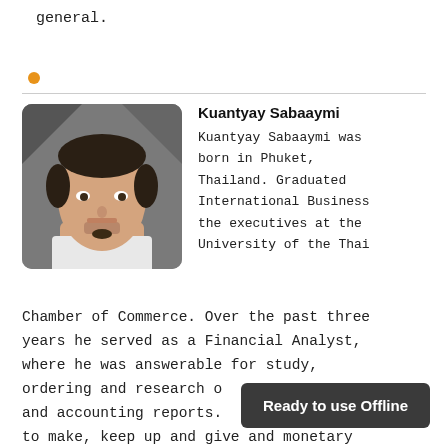general.
[Figure (photo): Orange bullet dot decorative element]
Kuantyay Sabaaymi

Kuantyay Sabaaymi was born in Phuket, Thailand. Graduated International Business the executives at the University of the Thai Chamber of Commerce. Over the past three years he served as a Financial Analyst, where he was answerable for study, ordering and research o and accounting reports. to make, keep up and give and monetary
[Figure (photo): Portrait photo of Kuantyay Sabaaymi, a young man with dark hair and a beard, against a grey background]
Ready to use Offline